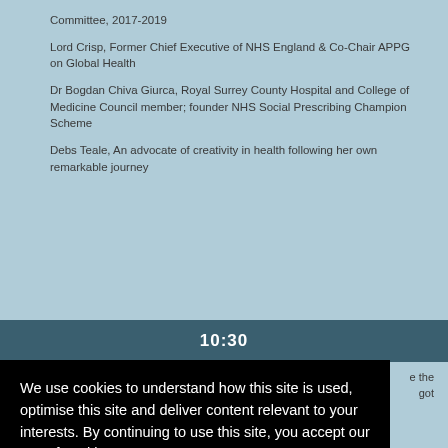Committee, 2017-2019
Lord Crisp, Former Chief Executive of NHS England & Co-Chair APPG on Global Health
Dr Bogdan Chiva Giurca, Royal Surrey County Hospital and College of Medicine Council member; founder NHS Social Prescribing Champion Scheme
Debs Teale, An advocate of creativity in health following her own remarkable journey
10:30
...e the got
...ge of Medicine; Dr Ally Jaffee, Junior Doctor, Co-Founder Nutritank &
We use cookies to understand how this site is used, optimise this site and deliver content relevant to your interests. By continuing to use this site, you accept our use of cookies.
Learn more
Got it!